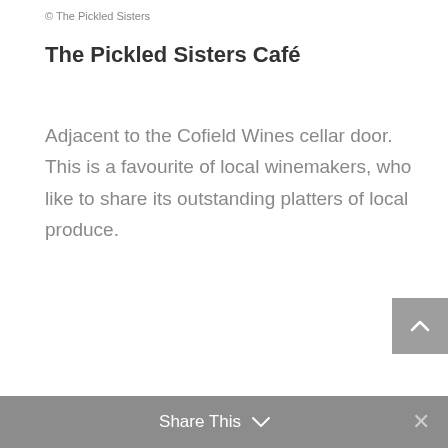© The Pickled Sisters
The Pickled Sisters Café
Adjacent to the Cofield Wines cellar door. This is a favourite of local winemakers, who like to share its outstanding platters of local produce.
Share This  ✕